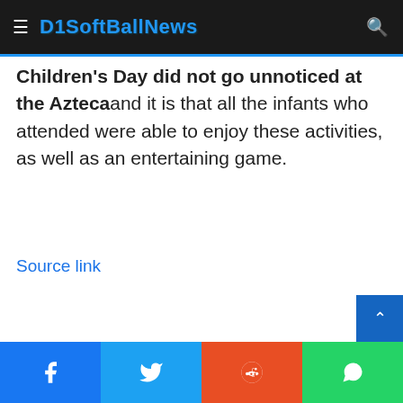D1SoftBallNews
Children's Day did not go unnoticed at the Azteca and it is that all the infants who attended were able to enjoy these activities, as well as an entertaining game.
Source link